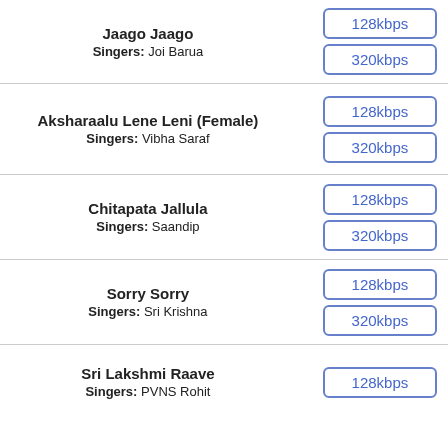Jaago Jaago
Singers: Joi Barua
128kbps | 320kbps
Aksharaalu Lene Leni (Female)
Singers: Vibha Saraf
128kbps | 320kbps
Chitapata Jallula
Singers: Saandip
128kbps | 320kbps
Sorry Sorry
Singers: Sri Krishna
128kbps | 320kbps
Sri Lakshmi Raave
Singers: PVNS Rohit
128kbps